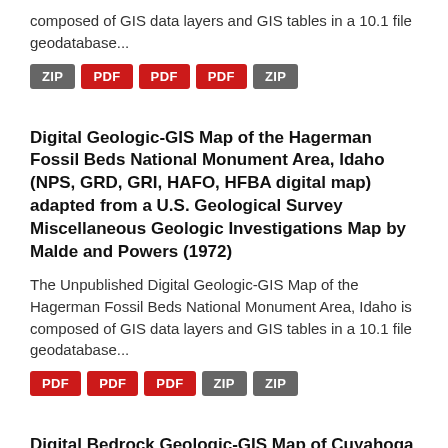composed of GIS data layers and GIS tables in a 10.1 file geodatabase...
ZIP PDF PDF PDF ZIP
Digital Geologic-GIS Map of the Hagerman Fossil Beds National Monument Area, Idaho (NPS, GRD, GRI, HAFO, HFBA digital map) adapted from a U.S. Geological Survey Miscellaneous Geologic Investigations Map by Malde and Powers (1972)
The Unpublished Digital Geologic-GIS Map of the Hagerman Fossil Beds National Monument Area, Idaho is composed of GIS data layers and GIS tables in a 10.1 file geodatabase...
PDF PDF PDF ZIP ZIP
Digital Bedrock Geologic-GIS Map of Cuyahoga National Park and Vicinity, Ohio (NPS, GRD, GRI, CUVA, CUVA_bedrock digital map) adapted from Ohio Division of Geological